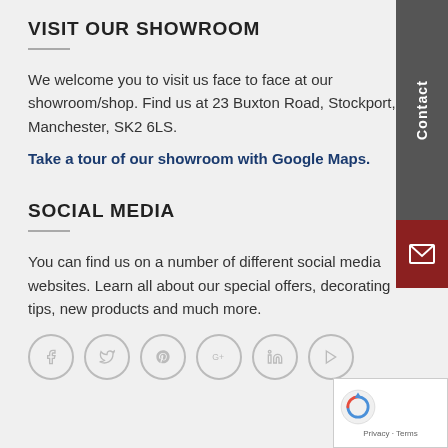VISIT OUR SHOWROOM
We welcome you to visit us face to face at our showroom/shop. Find us at 23 Buxton Road, Stockport, Manchester, SK2 6LS.
Take a tour of our showroom with Google Maps.
SOCIAL MEDIA
You can find us on a number of different social media websites. Learn all about our special offers, decorating tips, new products and much more.
[Figure (illustration): Row of six circular social media icon buttons: Facebook, Twitter, Pinterest, Google+, LinkedIn, YouTube]